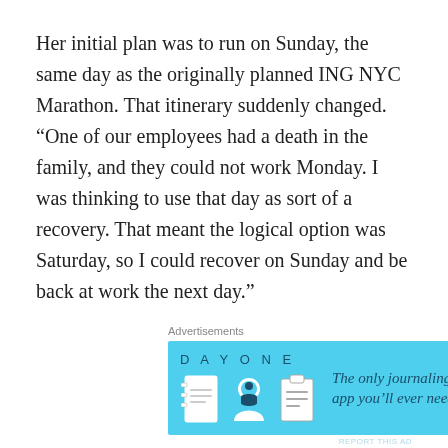Her initial plan was to run on Sunday, the same day as the originally planned ING NYC Marathon. That itinerary suddenly changed. “One of our employees had a death in the family, and they could not work Monday. I was thinking to use that day as sort of a recovery. That meant the logical option was Saturday, so I could recover on Sunday and be back at work the next day.”
[Figure (other): Advertisement banner for Day One journaling app. Light blue background with DAY ONE text, three icons (notebook, person, clipboard), and text: 'The only journaling app you’ll ever need.']
Learn to run happy
With all those changes, her thoughts were mixed going into the solo marathon. Then a friend entered the picture and told her, “You know what? You need to learn to run